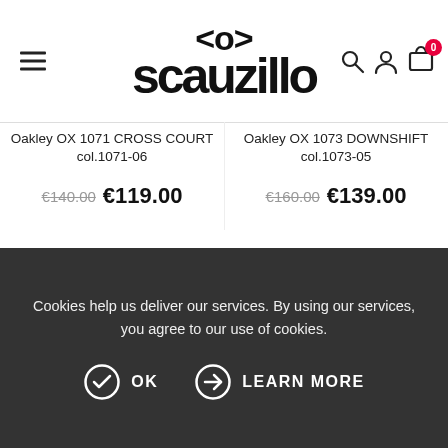[Figure (logo): Scauzillo eyewear logo with <o> above and 'scauzillo' wordmark below]
Oakley OX 1071 CROSS COURT col.1071-06
€140.00  €119.00
Oakley OX 1073 DOWNSHIFT col.1073-05
€160.00  €139.00
[Figure (photo): Oakley OX 1071 CROSS COURT eyeglasses - green/black frame]
[Figure (photo): Oakley OX 1073 DOWNSHIFT eyeglasses - black frame]
Cookies help us deliver our services. By using our services, you agree to our use of cookies.
OK  LEARN MORE